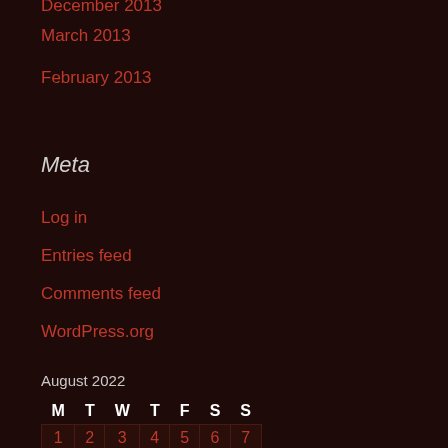December 2013
March 2013
February 2013
Meta
Log in
Entries feed
Comments feed
WordPress.org
August 2022
| M | T | W | T | F | S | S |
| --- | --- | --- | --- | --- | --- | --- |
| 1 | 2 | 3 | 4 | 5 | 6 | 7 |